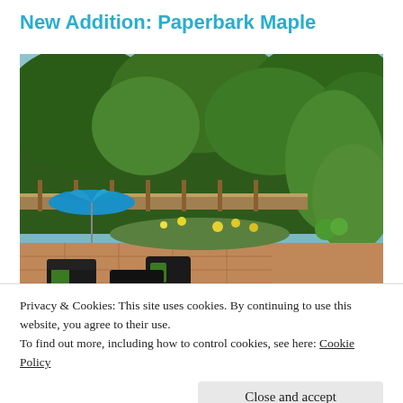New Addition: Paperbark Maple
[Figure (photo): Backyard garden patio with wicker furniture, green cushions, blue patio umbrella, surrounded by lush trees and garden beds with colorful flowers, brick patio floor]
Privacy & Cookies: This site uses cookies. By continuing to use this website, you agree to their use.
To find out more, including how to control cookies, see here: Cookie Policy
Close and accept
what led me to select and plant Acer griseum, commonly called a